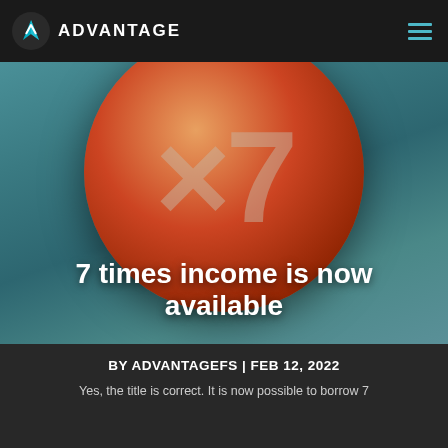[Figure (logo): Advantage FS logo with teal mountain/arrow icon and white ADVANTAGE text on dark navbar]
[Figure (illustration): Large orange-red sphere with x7 text inside, on teal gradient background, with white bold text '7 times income is now available' overlaid at the bottom]
BY ADVANTAGEFS | FEB 12, 2022
Yes, the title is correct. It is now possible to borrow 7